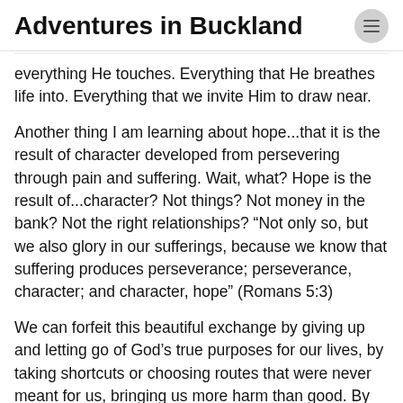Adventures in Buckland
everything He touches. Everything that He breathes life into. Everything that we invite Him to draw near.
Another thing I am learning about hope...that it is the result of character developed from persevering through pain and suffering. Wait, what? Hope is the result of...character? Not things? Not money in the bank? Not the right relationships? “Not only so, but we also glory in our sufferings, because we know that suffering produces perseverance; perseverance, character; and character, hope” (Romans 5:3)
We can forfeit this beautiful exchange by giving up and letting go of God’s true purposes for our lives, by taking shortcuts or choosing routes that were never meant for us, bringing us more harm than good. By giving up on a destiny that we, deep down